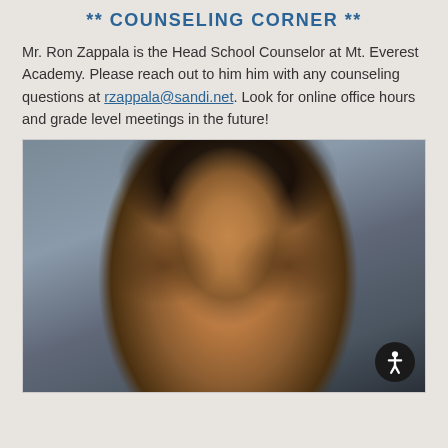** COUNSELING CORNER **
Mr. Ron Zappala is the Head School Counselor at Mt. Everest Academy. Please reach out to him him with any counseling questions at rzappala@sandi.net. Look for online office hours and grade level meetings in the future!
[Figure (photo): Headshot photo of Mr. Ron Zappala, Head School Counselor at Mt. Everest Academy, smiling, with dark hair, against a gray background.]